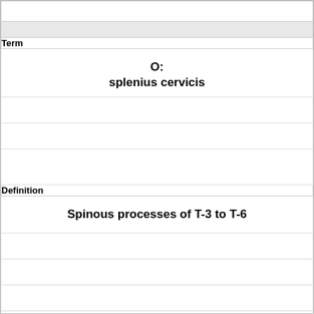|  |  |
| Term |  |
|  | O:
splenius cervicis |
|  |  |
|  |  |
|  |  |
| Definition |  |
|  | Spinous processes of T-3 to T-6 |
|  |  |
|  |  |
|  |  |
|  |  |